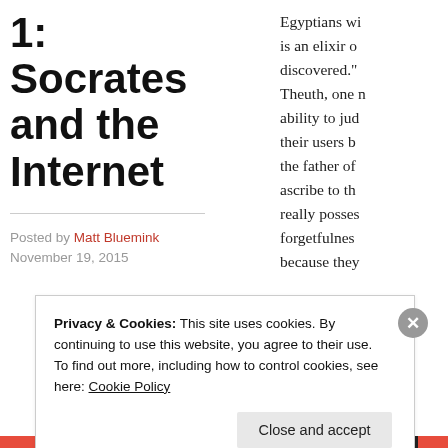1: Socrates and the Internet
Posted by Matt Bluemink
November 19, 2015
Egyptians wi is an elixir o discovered." Theuth, one n ability to jud their users b the father of ascribe to th really posses forgetfulnes because they
Privacy & Cookies: This site uses cookies. By continuing to use this website, you agree to their use.
To find out more, including how to control cookies, see here: Cookie Policy